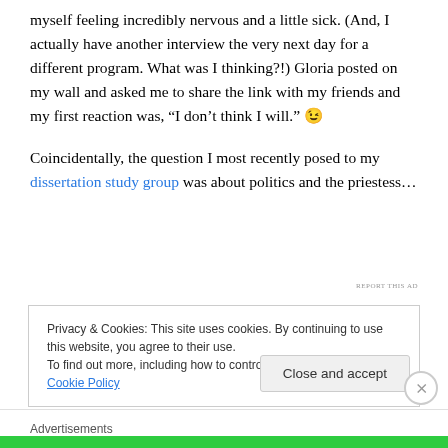myself feeling incredibly nervous and a little sick. (And, I actually have another interview the very next day for a different program. What was I thinking?!) Gloria posted on my wall and asked me to share the link with my friends and my first reaction was, “I don’t think I will.” 😉
Coincidentally, the question I most recently posed to my dissertation study group was about politics and the priestess…
REPORT THIS AD
Privacy & Cookies: This site uses cookies. By continuing to use this website, you agree to their use.
To find out more, including how to control cookies, see here: Cookie Policy
Close and accept
Advertisements